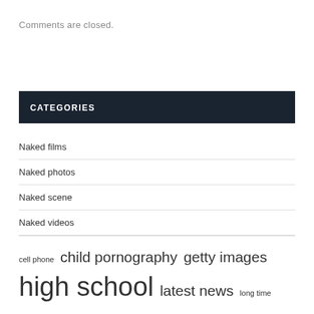Comments are closed.
CATEGORIES
Naked films
Naked photos
Naked scene
Naked videos
cell phone  child pornography  getty images  high school  latest news  long time  los angeles